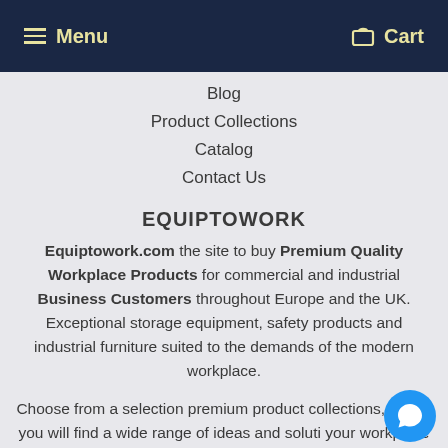Menu | Cart
Blog
Product Collections
Catalog
Contact Us
EQUIPTOWORK
Equiptowork.com the site to buy Premium Quality Workplace Products for commercial and industrial Business Customers throughout Europe and the UK. Exceptional storage equipment, safety products and industrial furniture suited to the demands of the modern workplace.
Choose from a selection premium product collections, where you will find a wide range of ideas and solutions for your workplace storage and safety requirements. For further assitance and advice on any of our products. Simply tap the Live Chat Button in the bottom right corner of any